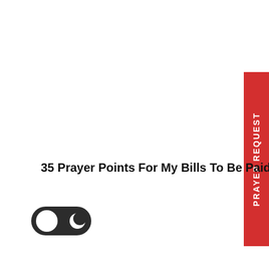[Figure (infographic): Red vertical tab/label on the right edge of the page with white rotated text reading 'PRAYER REQUEST']
35 Prayer Points For My Bills To Be Paid.
[Figure (illustration): Dark mode toggle switch UI element — a pill-shaped toggle in dark/off position with a white circle on the left and a crescent moon icon on the right]